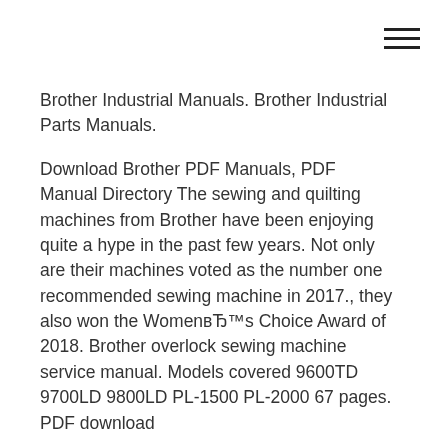[Figure (other): Hamburger menu icon with three horizontal lines in the top-right corner]
Brother Industrial Manuals. Brother Industrial Parts Manuals.
Download Brother PDF Manuals, PDF Manual Directory The sewing and quilting machines from Brother have been enjoying quite a hype in the past few years. Not only are their machines voted as the number one recommended sewing machine in 2017., they also won the WomenвЂ™s Choice Award of 2018. Brother overlock sewing machine service manual. Models covered 9600TD 9700LD 9800LD PL-1500 PL-2000 67 pages. PDF download
Instruction Manuals: Home Sew Manuals. Adobe